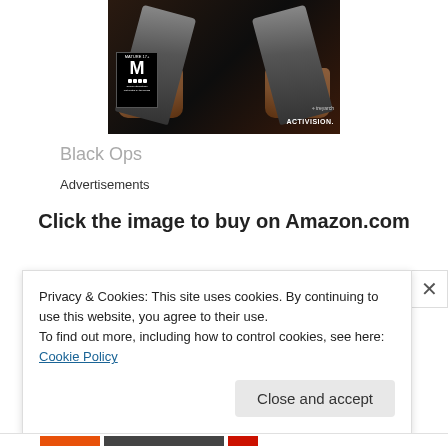[Figure (photo): Call of Duty Black Ops game cover showing two gun barrels pointed down, with hands holding them, ESRB M rating box on left, Treyarch and Activision logos on lower right, dark background]
Black Ops
Advertisements
Click the image to buy on Amazon.com
Privacy & Cookies: This site uses cookies. By continuing to use this website, you agree to their use.
To find out more, including how to control cookies, see here: Cookie Policy
Close and accept